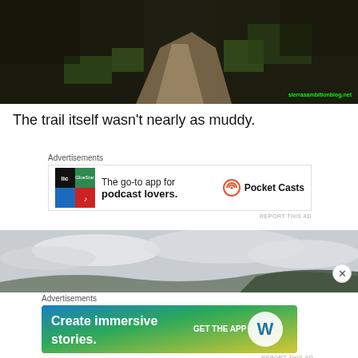[Figure (photo): Aerial/ground-level view of a dirt hiking trail winding through shrubs and green grass, with watermark 'sierrasambitionblog.net' in green]
The trail itself wasn't nearly as muddy.
[Figure (other): Advertisement for Pocket Casts app: colorful app icon, text 'The go-to app for podcast lovers.' with Pocket Casts logo]
[Figure (photo): Landscape photo showing overcast sky with clouds and hills in distance]
[Figure (other): Advertisement: 'Create immersive stories. GET THE APP' with WordPress logo, gradient blue/green/yellow background]